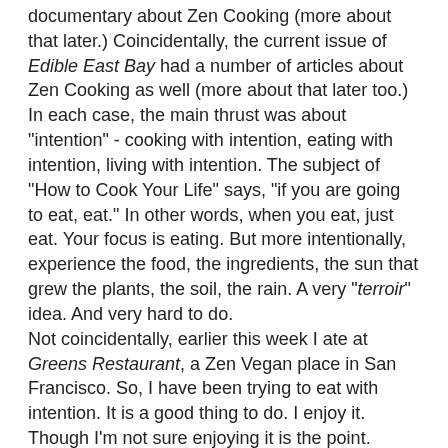documentary about Zen Cooking (more about that later.) Coincidentally, the current issue of Edible East Bay had a number of articles about Zen Cooking as well (more about that later too.) In each case, the main thrust was about "intention" - cooking with intention, eating with intention, living with intention. The subject of "How to Cook Your Life" says, "if you are going to eat, eat." In other words, when you eat, just eat. Your focus is eating. But more intentionally, experience the food, the ingredients, the sun that grew the plants, the soil, the rain. A very "terroir" idea. And very hard to do.
Not coincidentally, earlier this week I ate at Greens Restaurant, a Zen Vegan place in San Francisco. So, I have been trying to eat with intention. It is a good thing to do. I enjoy it. Though I'm not sure enjoying it is the point.
Today at lunch I had Pho Bo Tai Gau [Vietnamese rice noodle soup with beef stock ("bo") and rare beef and well done brisket ("tai" and "gau".)] The restaurant was crowded and noisy, and I had some interesting observations on the other diners, which I may share subsequently as well. I was trying not to be observing others, or the place - I was eating